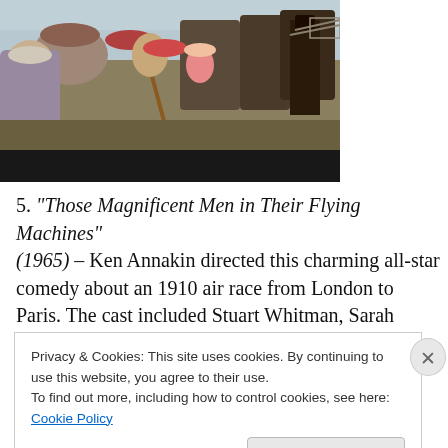[Figure (photo): A movie still from a vintage film showing people in Edwardian-era costumes at an airfield. Characters in period dress with large hats, a person holding a pole or stick, and an early aircraft visible in the background.]
5. "Those Magnificent Men in Their Flying Machines" (1965) – Ken Annakin directed this charming all-star comedy about an 1910 air race from London to Paris. The cast included Stuart Whitman, Sarah Miles, James Fox,
Privacy & Cookies: This site uses cookies. By continuing to use this website, you agree to their use.
To find out more, including how to control cookies, see here: Cookie Policy
Close and accept